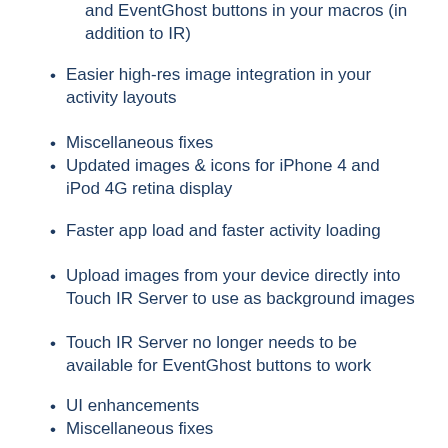and EventGhost buttons in your macros (in addition to IR)
Easier high-res image integration in your activity layouts
Miscellaneous fixes
Updated images & icons for iPhone 4 and iPod 4G retina display
Faster app load and faster activity loading
Upload images from your device directly into Touch IR Server to use as background images
Touch IR Server no longer needs to be available for EventGhost buttons to work
UI enhancements
Miscellaneous fixes
v4.3 – 08/27/2010
Touch IR Server now runs under Parallels on the Mac!